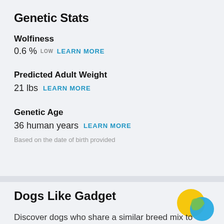Genetic Stats
Wolfiness
0.6 % LOW   LEARN MORE
Predicted Adult Weight
21 lbs   LEARN MORE
Genetic Age
36 human years   LEARN MORE
Based on the date of birth provided
Dogs Like Gadget
[Figure (illustration): Venn diagram with two overlapping circles: a yellow/gold circle and a blue circle with a small green overlap area]
Discover dogs who share a similar breed mix to